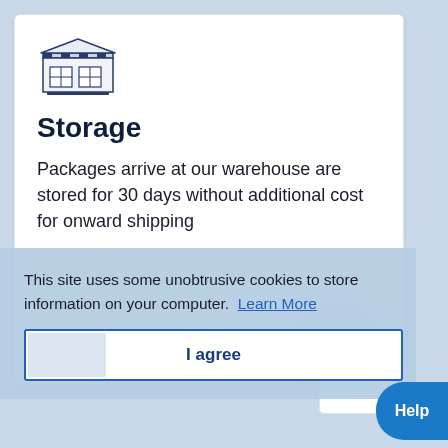[Figure (illustration): Line-art illustration of a warehouse/storage building with two boxes inside, rendered in dark blue outline style]
Storage
Packages arrive at our warehouse are stored for 30 days without additional cost for onward shipping
Read More
This site uses some unobtrusive cookies to store information on your computer.  Learn More
I agree